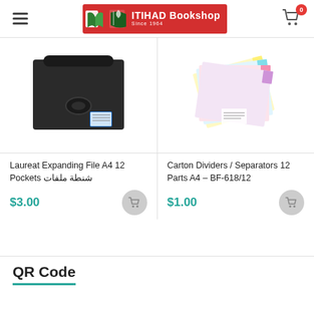ITIHAD Bookshop LLC Since 1964
[Figure (photo): Black expanding file folder A4 with handle and snap button closure, with blue label]
Laureat Expanding File A4 12 Pockets شنطة ملفات
$3.00
[Figure (photo): Colorful carton dividers/separators fanned out showing pink, blue, yellow and white tabs]
Carton Dividers / Separators 12 Parts A4 – BF-618/12
$1.00
QR Code